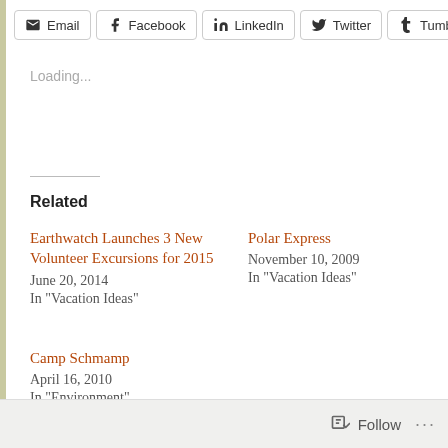Email | Facebook | LinkedIn | Twitter | Tumblr
Loading...
Related
Earthwatch Launches 3 New Volunteer Excursions for 2015
June 20, 2014
In "Vacation Ideas"
Polar Express
November 10, 2009
In "Vacation Ideas"
Camp Schmamp
April 16, 2010
In "Environment"
Follow ...